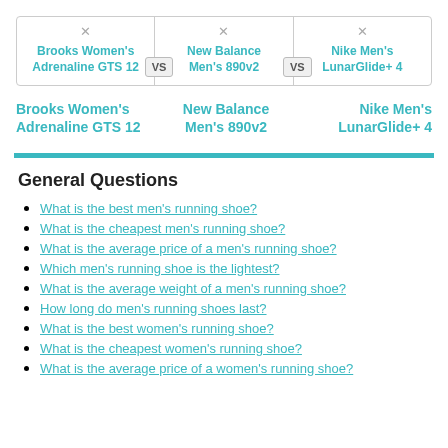[Figure (other): Product comparison widget with three shoes: Brooks Women's Adrenaline GTS 12, New Balance Men's 890v2, Nike Men's LunarGlide+ 4, with VS badges between columns]
Brooks Women's Adrenaline GTS 12
New Balance Men's 890v2
Nike Men's LunarGlide+ 4
General Questions
What is the best men's running shoe?
What is the cheapest men's running shoe?
What is the average price of a men's running shoe?
Which men's running shoe is the lightest?
What is the average weight of a men's running shoe?
How long do men's running shoes last?
What is the best women's running shoe?
What is the cheapest women's running shoe?
What is the average price of a women's running shoe?